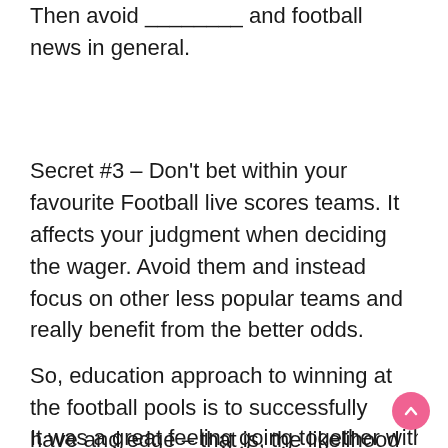Then avoid ________ and football news in general.
Secret #3 – Don't bet within your favourite Football live scores teams. It affects your judgment when deciding the wager. Avoid them and instead focus on other less popular teams and really benefit from the better odds.
So, education approach to winning at the football pools is to successfully have and edge – that is, the likelihood of winning are biased slightly in your favour from evens.
It was a great feeling going together with